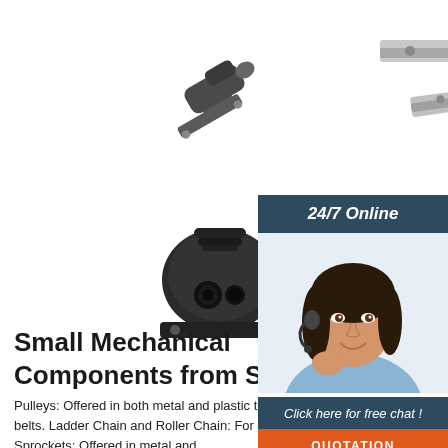[Figure (photo): Product images of small mechanical components: a cable connector/conduit fitting (top left), a rack and pinion or linear guide rail (top right), a magnetic mount or roller widget (bottom left), a toothed rack or linear rail (bottom center)]
[Figure (photo): 24/7 online customer service representative — woman with headset smiling, dark hair, wearing light blue shirt, with dark teal banner at top reading '24/7 Online', dark teal banner below reading 'Click here for free chat!', and orange button labeled 'QUOTATION']
Small Mechanical Components from SDP/S…
Pulleys: Offered in both metal and plastic to match belt profiles. Wide variety of miniature pulleys and matching timing belts. Ladder Chain and Roller Chain: For Light Duty to Heavy Duty Applications. Metal and Self-Lubricating Plastic. Sprockets: Offered in metal and …